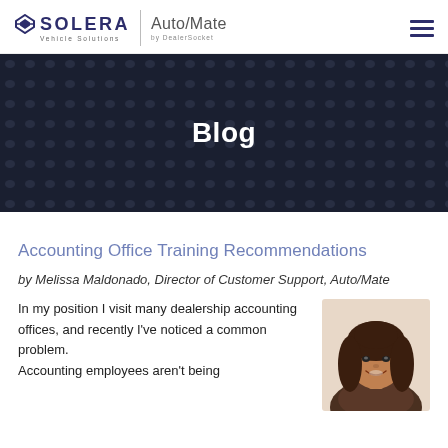SOLERA Vehicle Solutions | Auto/Mate by DealerSocket
[Figure (other): Dark textured dot-pattern hero banner with the word Blog centered in white text]
Accounting Office Training Recommendations
by Melissa Maldonado, Director of Customer Support, Auto/Mate
In my position I visit many dealership accounting offices, and recently I've noticed a common problem. Accounting employees aren't being
[Figure (photo): Photo of Melissa Maldonado, a woman with long dark hair, smiling]